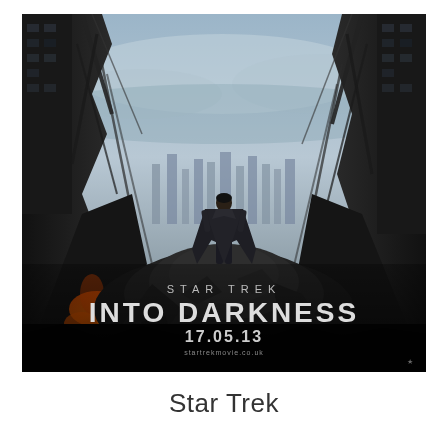[Figure (photo): Movie poster for Star Trek Into Darkness. A lone figure in a long dark coat stands atop a pile of rubble in a post-apocalyptic cityscape with destroyed buildings on either side. The sky is overcast. Text on the poster reads 'STAR TREK INTO DARKNESS 17.05.13' with a website URL below. The image is dark and dramatic in black, grey, and muted tones with some orange fire visible on the left.]
Star Trek